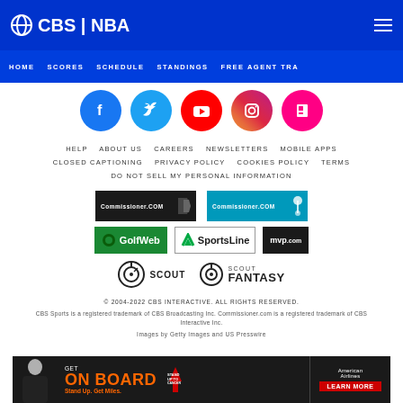CBS | NBA
HOME  SCORES  SCHEDULE  STANDINGS  FREE AGENT TRA
[Figure (other): Row of social media icons: Facebook, Twitter, YouTube, Instagram, Flipboard]
HELP  ABOUT US  CAREERS  NEWSLETTERS  MOBILE APPS
CLOSED CAPTIONING  PRIVACY POLICY  COOKIES POLICY  TERMS
DO NOT SELL MY PERSONAL INFORMATION
[Figure (logo): Commissioner.COM dark logo]
[Figure (logo): Commissioner.COM blue logo]
[Figure (logo): GolfWeb logo]
[Figure (logo): SportsLine logo]
[Figure (logo): mvp.com logo]
[Figure (logo): Scout logo]
[Figure (logo): Scout Fantasy logo]
© 2004-2022 CBS INTERACTIVE. ALL RIGHTS RESERVED.
CBS Sports is a registered trademark of CBS Broadcasting Inc. Commissioner.com is a registered trademark of CBS Interactive Inc.
Images by Getty Images and US Presswire
[Figure (other): Advertisement banner: GET ON BOARD Stand Up. Get Miles. American Airlines LEARN MORE]